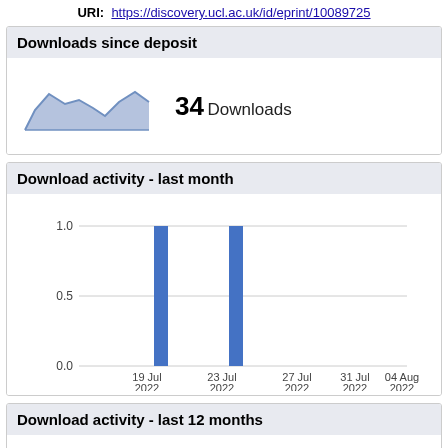URI: https://discovery.ucl.ac.uk/id/eprint/10089725
Downloads since deposit
[Figure (area-chart): Area chart showing downloads since deposit, a sparkline with a mountain shape, filled in blue-grey]
34 Downloads
Download activity - last month
[Figure (bar-chart): Download activity - last month]
Download activity - last 12 months